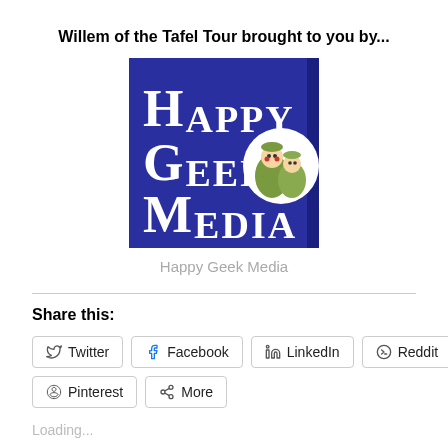Willem of the Tafel Tour brought to you by...
[Figure (logo): Happy Geek Media logo — blue square background with white serif text reading HAPPY GEEK MEDIA and a circular icon showing Russian nesting dolls]
Happy Geek Media
Share this:
Twitter  Facebook  LinkedIn  Reddit  Tumblr  Pinterest  More
Loading...